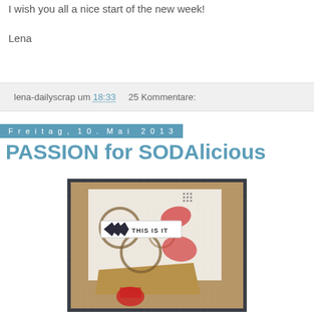I wish you all a nice start of the new week!
Lena
lena-dailyscrap um 18:33    25 Kommentare:
Freitag, 10. Mai 2013
PASSION for SODAlicious
[Figure (photo): A craft/scrapbooking art piece on a dark grid background. The piece features cardboard, stamped circular ring marks, red paint/ink marks, arrows chevrons design, and a label reading THIS IS IT.]